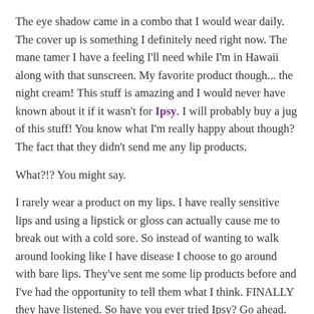The eye shadow came in a combo that I would wear daily. The cover up is something I definitely need right now. The mane tamer I have a feeling I'll need while I'm in Hawaii along with that sunscreen. My favorite product though... the night cream! This stuff is amazing and I would never have known about it if it wasn't for Ipsy. I will probably buy a jug of this stuff! You know what I'm really happy about though? The fact that they didn't send me any lip products.
What?!? You might say.
I rarely wear a product on my lips. I have really sensitive lips and using a lipstick or gloss can actually cause me to break out with a cold sore. So instead of wanting to walk around looking like I have disease I choose to go around with bare lips. They've sent me some lip products before and I've had the opportunity to tell them what I think. FINALLY they have listened. So have you ever tried Ipsy? Go ahead. Give it a shot. It's 10.00 a month and that includes the shipping. You might find something really great that you didn't know about. Plus it's always a fun little surprise in the mail.